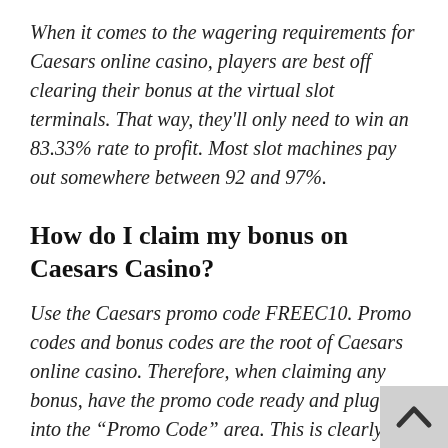When it comes to the wagering requirements for Caesars online casino, players are best off clearing their bonus at the virtual slot terminals. That way, they'll only need to win an 83.33% rate to profit. Most slot machines pay out somewhere between 92 and 97%.
How do I claim my bonus on Caesars Casino?
Use the Caesars promo code FREEC10. Promo codes and bonus codes are the root of Caesars online casino. Therefore, when claiming any bonus, have the promo code ready and plug it into the “Promo Code” area. This is clearly displayed during the registration and cashiering portion of the platform when the player is eligible. Also, players can